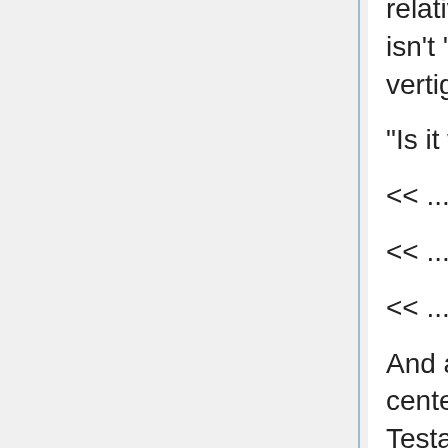relatively easy to leap between, though 'straight' isn't 'straight' and navigation is close to impossible, vertigo inevitable.
"Is it worth it, Testarossa-sama?"
<< ... >>
<< ... >>
<< .......YES. >>
And at the end of the broken black road -- the center of the maze -- the silhouette of Precia Testarossa is transformed to black against the blinding light of the Jewel Seeds, which has become so fierce that it is white, not blue at all.
"I love you. And that's the only thing that matters. Everything else... we'll get past it. We'll find a way. Together. You don't have to suffer alone anymore, Mother."
A few details can still be made out, at her